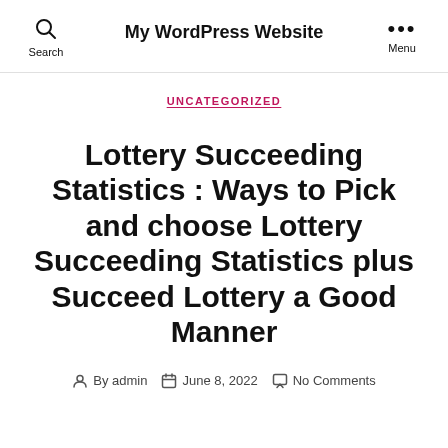My WordPress Website
UNCATEGORIZED
Lottery Succeeding Statistics : Ways to Pick and choose Lottery Succeeding Statistics plus Succeed Lottery a Good Manner
By admin   June 8, 2022   No Comments